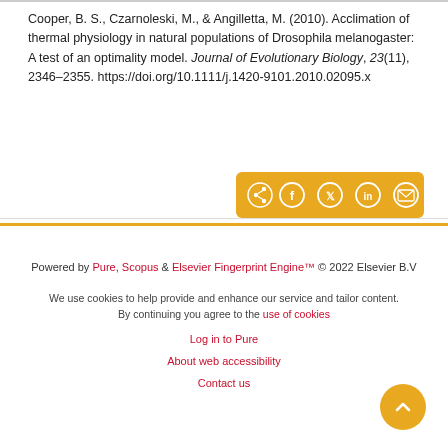Cooper, B. S., Czarnoleski, M., & Angilletta, M. (2010). Acclimation of thermal physiology in natural populations of Drosophila melanogaster: A test of an optimality model. Journal of Evolutionary Biology, 23(11), 2346-2355. https://doi.org/10.1111/j.1420-9101.2010.02095.x
[Figure (other): Social share bar with icons for share, Facebook, Twitter, LinkedIn, and email, on a golden-yellow background]
Powered by Pure, Scopus & Elsevier Fingerprint Engine™ © 2022 Elsevier B.V
We use cookies to help provide and enhance our service and tailor content. By continuing you agree to the use of cookies
Log in to Pure
About web accessibility
Contact us